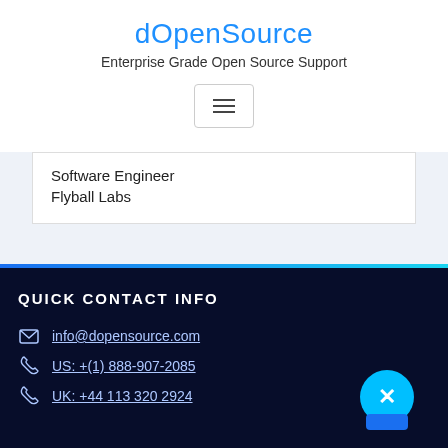dOpenSource
Enterprise Grade Open Source Support
[Figure (other): Hamburger menu button with three horizontal lines]
Software Engineer
Flyball Labs
QUICK CONTACT INFO
info@dopensource.com
US: +(1) 888-907-2085
UK: +44 113 320 2924